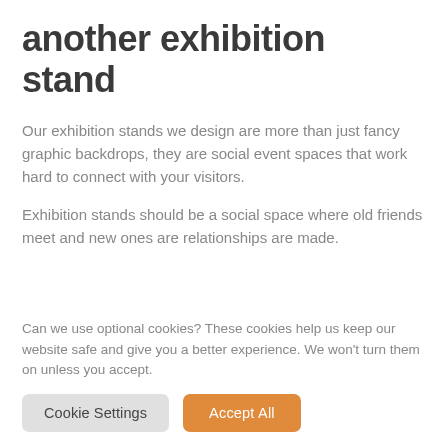another exhibition stand
Our exhibition stands we design are more than just fancy graphic backdrops, they are social event spaces that work hard to connect with your visitors.
Exhibition stands should be a social space where old friends meet and new ones are relationships are made.
Can we use optional cookies? These cookies help us keep our website safe and give you a better experience. We won't turn them on unless you accept.